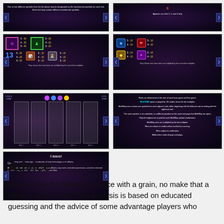[Figure (screenshot): Slot machine paytable screenshot - transformed symbols info]
[Figure (screenshot): Slot machine paytable screenshot - appears on reels 1,2,3 and 4 only]
[Figure (screenshot): Slot machine paytable with symbol payouts: 5-30, 4-30, 3-30 and 5-20, 4-20, 3-20 and number 13 with 5-20, 4-20, 3-20 and dice 5-10, 4-10, 3-10 and astronaut 5-10, 4-10, 3-10]
[Figure (screenshot): Slot machine paytable with colored gem symbols and payouts 5-10, 4-10 for blue/red/yellow/purple gems]
[Figure (screenshot): Slot machine reels display showing 5 reel columns with lock zone indicators]
[Figure (screenshot): Slot machine rules text about bonus game, MultiWay wins, coin symbol]
[Figure (screenshot): Slot machine legal text with Unity logo and trademark information]
Advice
Please take the following advice with a grain, no make that a teaspoonful, of salt. This analysis is based on educated guessing and the advice of some advantage players who